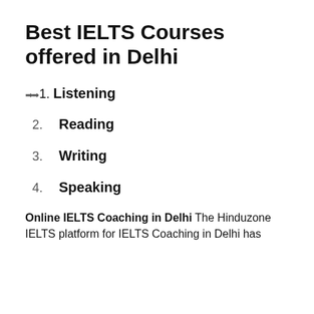Best IELTS Courses offered in Delhi
1. Listening
2. Reading
3. Writing
4. Speaking
Online IELTS Coaching in Delhi The Hinduzone IELTS platform for IELTS Coaching in Delhi has